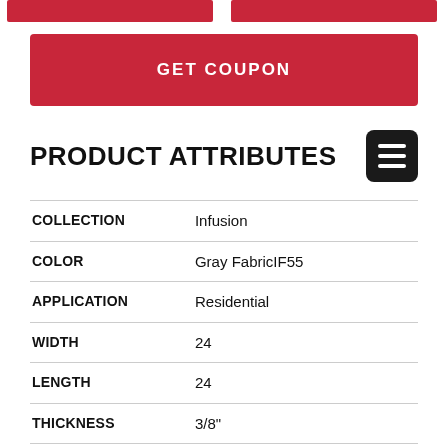[Figure (other): Two red button/banner elements at top of page]
GET COUPON
PRODUCT ATTRIBUTES
| Attribute | Value |
| --- | --- |
| COLLECTION | Infusion |
| COLOR | Gray FabricIF55 |
| APPLICATION | Residential |
| WIDTH | 24 |
| LENGTH | 24 |
| THICKNESS | 3/8" |
| DESCRIPTION | Also Available In: 12" X 12" - Field Tile ,12" X 24" |